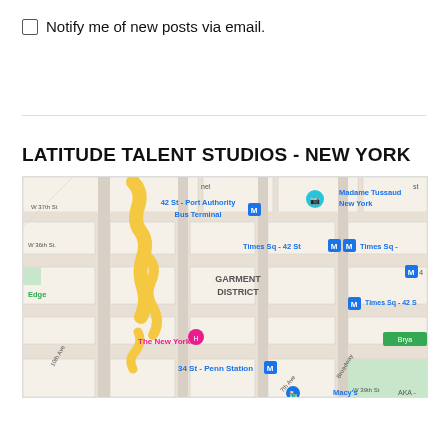Notify me of new posts via email.
[Figure (map): Google Maps screenshot showing the area around Times Square and Garment District in New York City, with landmarks including 42 St - Port Authority Bus Terminal, Madame Tussauds New York, Times Sq - 42 St subway stations, The New Yorker hotel, and 34 St - Penn Station.]
LATITUDE TALENT STUDIOS - NEW YORK